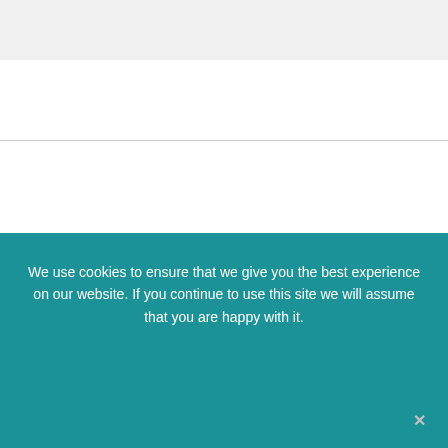[Figure (other): Gray bar at top of page]
FOLLOW US ON FACEBOOK!
FOLLOW US ON TWITTER!
[Figure (other): Light gray bar at bottom of content area]
We use cookies to ensure that we give you the best experience on our website. If you continue to use this site we will assume that you are happy with it.